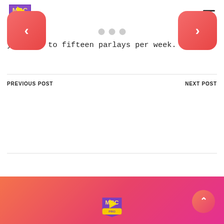MGC PRO logo and navigation menu
you want to fifteen parlays per week.
PREVIOUS POST
NEXT POST
[Figure (illustration): Previous post navigation button with left arrow chevron, red/pink rounded square button]
[Figure (illustration): Three gray dots pagination indicator]
[Figure (illustration): Next post navigation button with right arrow chevron, red/pink rounded square button]
Footer with gradient background and MGC logo, scroll-to-top button